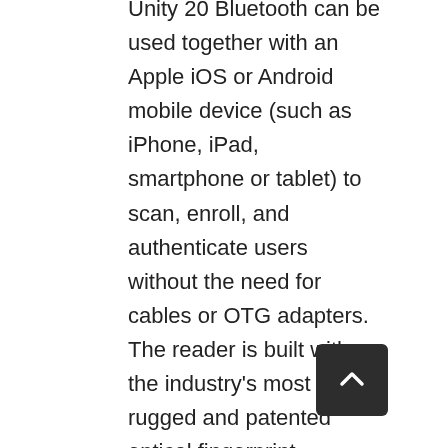Unity 20 Bluetooth can be used together with an Apple iOS or Android mobile device (such as iPhone, iPad, smartphone or tablet) to scan, enroll, and authenticate users without the need for cables or OTG adapters. The reader is built with the industry's most rugged and patented optical fingerprint technology and yet is small enough to be carried in a pocket and held comfortably in one hand. It can also be used on the desktop with Bluetooth-enabled computers. Thoughtfully designed, the device works in either direction so you scan your finger or another person's